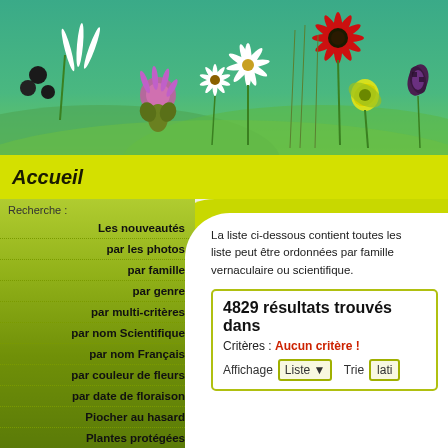[Figure (photo): Header banner with various wildflowers (pink thistle, white star-shaped flowers, red daisy, yellow-green flower, dark fritillary) on a green background]
Accueil
Recherche :
Les nouveautés
par les photos
par famille
par genre
par multi-critères
par nom Scientifique
par nom Français
par couleur de fleurs
par date de floraison
Piocher au hasard
Plantes protégées
La liste ci-dessous contient toutes les liste peut être ordonnées par famille vernaculaire ou scientifique.
4829 résultats trouvés dans
Critères : Aucun critère !
Affichage Liste ▾   Trie lati